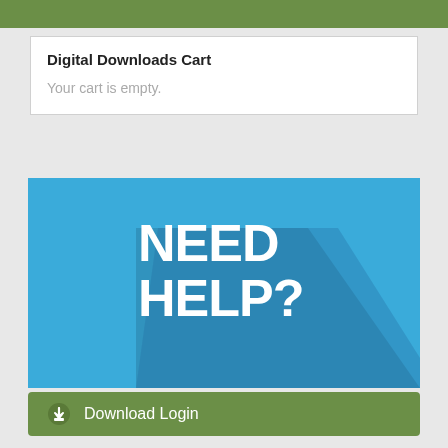Digital Downloads Cart
Your cart is empty.
[Figure (illustration): Blue banner image with bold white text reading 'NEED HELP?' with a diagonal drop shadow effect on a bright blue background.]
Download Login